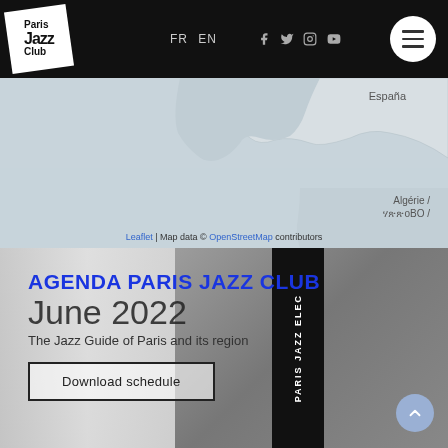Paris Jazz Club — FR EN — [social icons] — menu
[Figure (map): Partial map showing España and Algérie / ሃጽጽoBО / regions, with Leaflet | Map data © OpenStreetMap contributors attribution]
[Figure (photo): Background photo of an open book/agenda with black vertical strip (Paris Jazz Elec spine text). Overlaid with blue bold text AGENDA PARIS JAZZ CLUB, large light text June 2022, subtitle The Jazz Guide of Paris and its region, and a Download schedule button.]
AGENDA PARIS JAZZ CLUB
June 2022
The Jazz Guide of Paris and its region
Download schedule